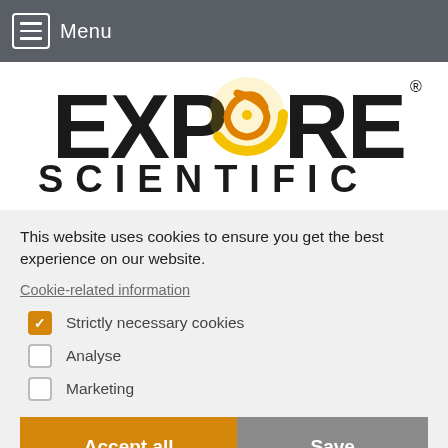Menu
[Figure (logo): Explore Scientific logo with stylized yellow/orange galaxy-like swirl replacing the letter O]
This website uses cookies to ensure you get the best experience on our website.
Cookie-related information
Strictly necessary cookies (checked)
Analyse (unchecked)
Marketing (unchecked)
Accept all | Save